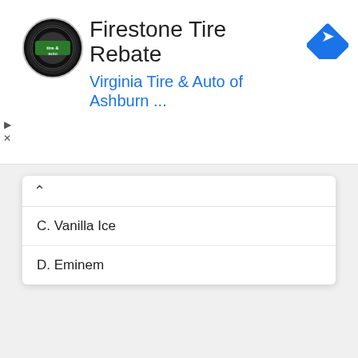[Figure (screenshot): Ad banner for Firestone Tire Rebate at Virginia Tire & Auto of Ashburn. Contains logo, title text, blue subtitle, navigation icon, and play/close controls.]
C. Vanilla Ice
D. Eminem
iPhone owners are obsessed with this Marvel game
MARVEL Strike Force
AC/DC's Brian Johnson Honors Taylor Hawkins Ahead Of Tribute...
www.iheart.com
Get A Hair Transplant Done (See Options)
Hair Transplantation | Search ads